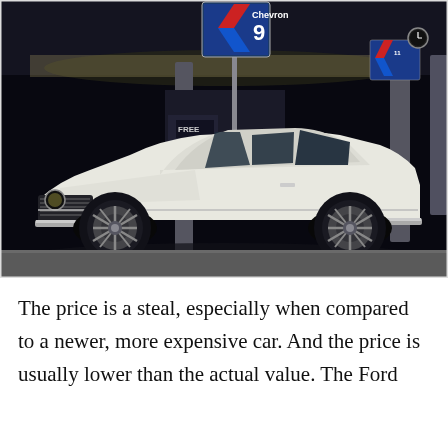[Figure (photo): A white classic muscle car (appears to be a late 1960s Dodge Dart or similar) parked at a Chevron gas station at night. The car is photographed from a side angle showing its full profile. The gas station canopy is lit up in the background with a Chevron sign showing the number 9.]
The price is a steal, especially when compared to a newer, more expensive car. And the price is usually lower than the actual value. The Ford